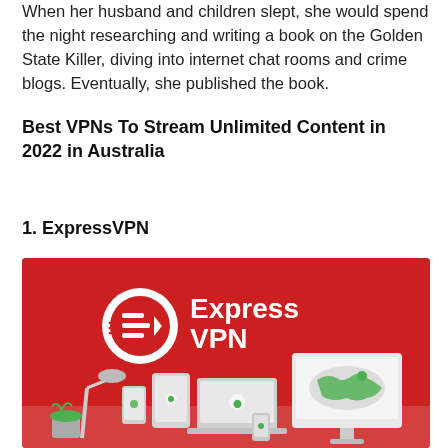When her husband and children slept, she would spend the night researching and writing a book on the Golden State Killer, diving into internet chat rooms and crime blogs. Eventually, she published the book.
Best VPNs To Stream Unlimited Content in 2022 in Australia
1. ExpressVPN
[Figure (photo): ExpressVPN promotional banner image with red background showing the ExpressVPN logo (circular EV icon and ExpressVPN text in white) above a desk scene with various devices including a desktop monitor, laptop, tablet, and smartphone, all showing green VPN connection indicators and a world map.]